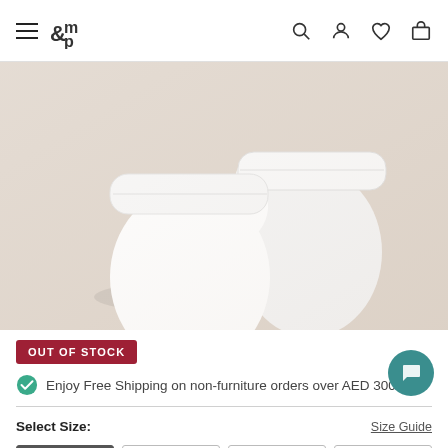m&p — Navigation header with hamburger menu, logo, search, account, wishlist, and cart icons
[Figure (photo): Two white baby mittens/scratch mitts laid flat on a light beige/cream surface]
OUT OF STOCK
Enjoy Free Shipping on non-furniture orders over AED 300
Select Size:
Size Guide